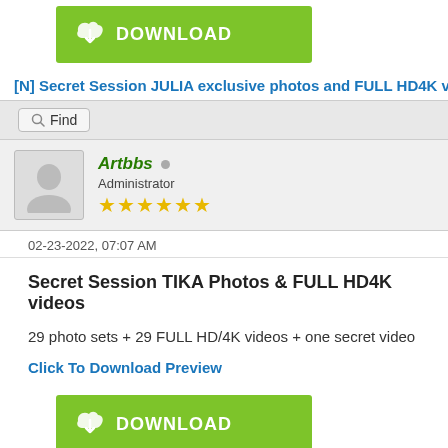[Figure (other): Green DOWNLOAD button with cloud/arrow icon at top of page]
[N] Secret Session JULIA exclusive photos and FULL HD4K vide
Find (search bar button)
Artbbs - Administrator - 6 stars - online indicator
02-23-2022, 07:07 AM
Secret Session TIKA Photos & FULL HD4K videos
29 photo sets + 29 FULL HD/4K videos + one secret video
Click To Download Preview
[Figure (other): Green DOWNLOAD button with cloud/arrow icon]
Secret Session TIKA Photos & FULL HD4K videos